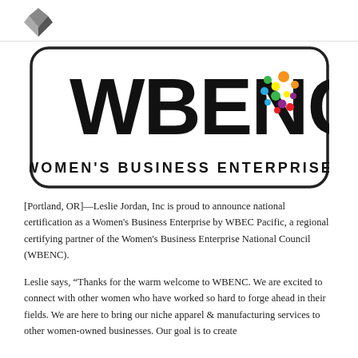[Figure (logo): WBENC Women's Business Enterprise certification logo — large bold black text 'WBENC' with a colorful circular dot cluster icon in the top-right of the C, and 'WOMEN'S BUSINESS ENTERPRISE' in spaced caps below, all inside a rounded rectangle border.]
[Portland, OR]—Leslie Jordan, Inc is proud to announce national certification as a Women's Business Enterprise by WBEC Pacific, a regional certifying partner of the Women's Business Enterprise National Council (WBENC).
Leslie says, “Thanks for the warm welcome to WBENC. We are excited to connect with other women who have worked so hard to forge ahead in their fields. We are here to bring our niche apparel & manufacturing services to other women-owned businesses. Our goal is to create